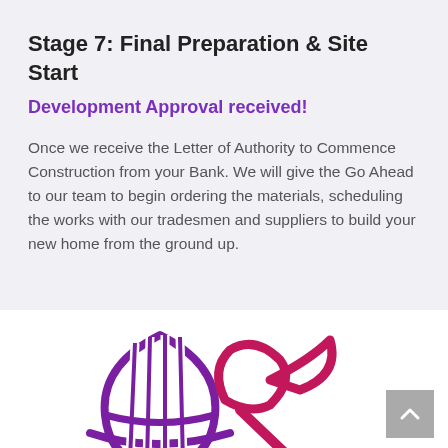Stage 7: Final Preparation & Site Start
Development Approval received!
Once we receive the Letter of Authority to Commence Construction from your Bank. We will give the Go Ahead to our team to begin ordering the materials, scheduling the works with our tradesmen and suppliers to build your new home from the ground up.
[Figure (illustration): Hard hat and hammer icon illustration in purple and magenta/pink outline style]